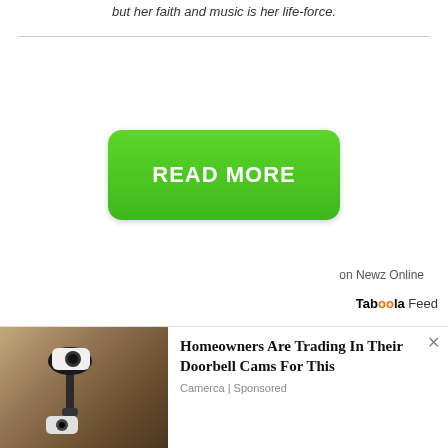but her faith and music is her life-force.
[Figure (other): Green READ MORE button with rounded corners]
on Newz Online
Taboola Feed
[Figure (photo): Advertisement image showing a security camera on a wall alongside ad text: Homeowners Are Trading In Their Doorbell Cams For This. Camerca | Sponsored]